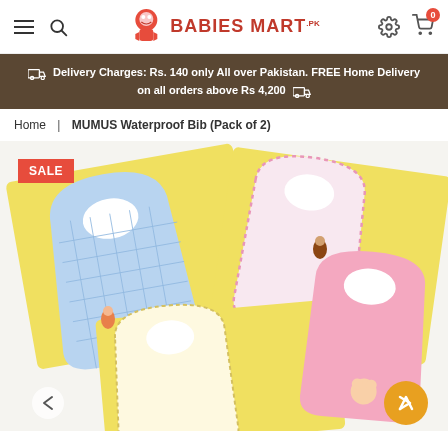Babies Mart .PK — Navigation header with hamburger, search, logo, settings and cart (0 items)
🚚 Delivery Charges: Rs. 140 only All over Pakistan. FREE Home Delivery on all orders above Rs 4,200 🚚
Home | MUMUS Waterproof Bib (Pack of 2)
[Figure (photo): Product photo showing multiple baby bibs laid out on a white surface — a blue checkered bib, a pink bordered bib, a yellow bordered bib, and a pink solid bib, all with cute bear embroidery. A red SALE badge is in the top left corner.]